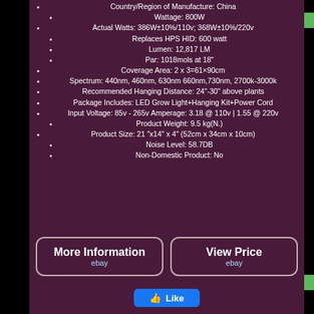Country/Region of Manufacture: China
Wattage: 800W
Actual Watts: 386W±10%/110v; 368W±10%/220v
Replaces HPS HID: 600 watt
Lumen: 12,817 LM
Par: 1018mols at 18"
Coverage Area: 2 x 3=61×90cm
Spectrum: 440nm, 460nm, 630nm 660nm,730nm, 2700k-3000k
Recommended Hanging Distance: 24"-30" above plants
Package Includes: LED Grow Light+Hanging Kit+Power Cord
Input Voltage: 85v - 265v Amperage: 3.18 @ 110v | 1.55 @ 220v
Product Weight: 9.5 kg(N.)
Product Size: 21 "x14" x 4" (52cm x 34cm x 10cm)
Noise Level: 58.7DB
Non-Domestic Product: No
More Information
ebay
View Price
ebay
Like